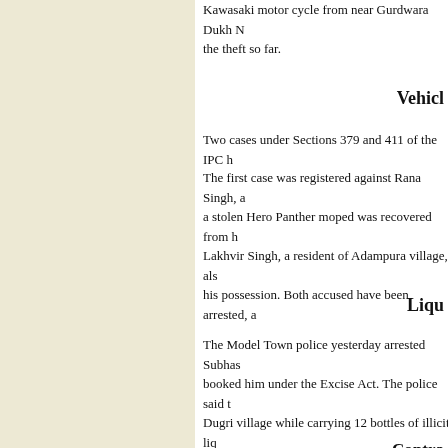Kawasaki motor cycle from near Gurdwara Dukh Nivaran. Police have not traced the theft so far.
Vehicl
Two cases under Sections 379 and 411 of the IPC h
The first case was registered against Rana Singh, a a stolen Hero Panther moped was recovered from h Lakhvir Singh, a resident of Adampura village, als his possession. Both accused have been arrested, a
Liqu
The Model Town police yesterday arrested Subhas booked him under the Excise Act. The police said t Dugri village while carrying 12 bottles of illicit liq
Contra
SSP Parmod Ban claimed to have arrested two con man for a supari of Rs 45,000 in 2001.
The SSP said the body of Chand was found in a ho An inquiry was done under the supervision of DSP who confessed that he had hired Sataya Parkash an with his wife. The police claimed that two letters w